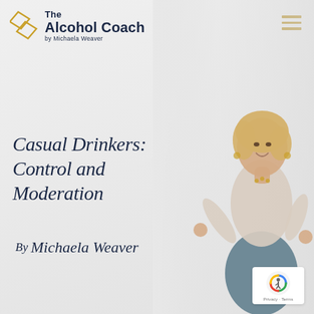[Figure (logo): The Alcohol Coach logo: two overlapping gold diamond shapes and bold text reading 'The Alcohol Coach by Michaela Weaver']
[Figure (other): Hamburger menu icon made of three horizontal gold lines, top right corner]
[Figure (photo): Professional photo of a blonde woman in a cream blouse and teal skirt, smiling with arms open gesturing toward the title text, positioned on the right side of the page]
Casual Drinkers: Control and Moderation
By Michaela Weaver
[Figure (logo): Google reCAPTCHA badge bottom right with circular arrow logo icon and 'Privacy · Terms' text]